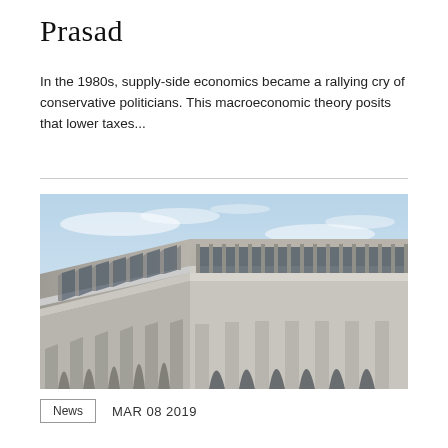Prasad
In the 1980s, supply-side economics became a rallying cry of conservative politicians. This macroeconomic theory posits that lower taxes...
[Figure (photo): Corner view of a modernist concrete building with vertical fins along the upper facade and arched columns at the base, photographed against a partly cloudy sky.]
News   MAR 08 2019